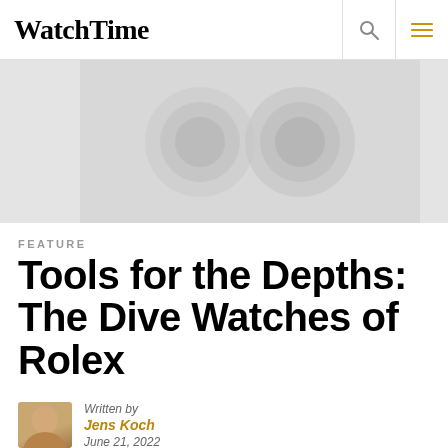WatchTime
[Figure (photo): Blurred hero image of Rolex dive watches, light gray tones]
FEATURE
Tools for the Depths: The Dive Watches of Rolex
Written by Jens Koch June 21, 2022